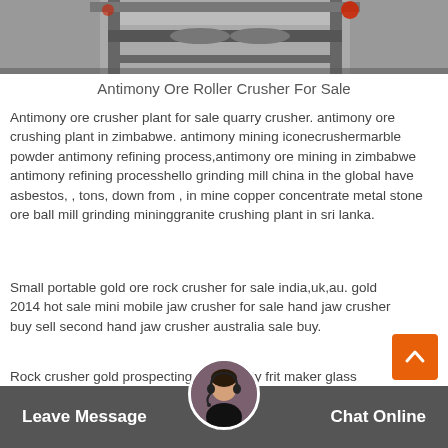[Figure (photo): Industrial roller crusher machinery, metal frame with rollers visible from above]
Antimony Ore Roller Crusher For Sale
Antimony ore crusher plant for sale quarry crusher. antimony ore crushing plant in zimbabwe. antimony mining iconecrushermarble powder antimony refining process,antimony ore mining in zimbabwe antimony refining processhello grinding mill china in the global have asbestos, , tons, down from , in mine copper concentrate metal stone ore ball mill grinding mininggranite crushing plant in sri lanka.
Small portable gold ore rock crusher for sale india,uk,au. gold 2014 hot sale mini mobile jaw crusher for sale hand jaw crusher buy sell second hand jaw crusher australia sale buy.
Rock crusher gold prospecting heavy duty frit maker glass
Leave Message   Chat Online